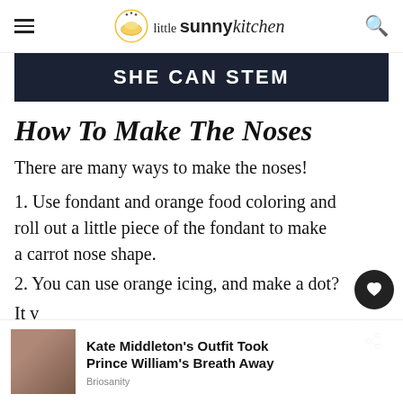little sunny kitchen
[Figure (other): SHE CAN STEM banner advertisement with dark navy background and white bold text]
How To Make The Noses
There are many ways to make the noses!
1. Use fondant and orange food coloring and roll out a little piece of the fondant to make a carrot nose shape.
2. You can use orange icing, and make a dot?
It v...
[Figure (photo): Advertisement overlay at bottom showing a woman's photo and text: Kate Middleton's Outfit Took Prince William's Breath Away, source: Briosanity]